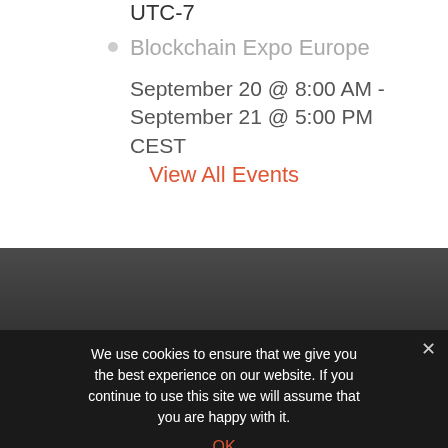UTC-7
Blockchain Expo Europe
September 20 @ 8:00 AM - September 21 @ 5:00 PM CEST
View All Events
[Figure (other): Dark footer/navigation area with blue circular icon partially visible at bottom]
We use cookies to ensure that we give you the best experience on our website. If you continue to use this site we will assume that you are happy with it.
OK